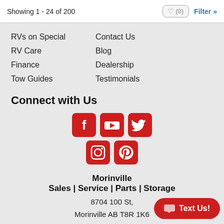Showing 1 - 24 of 200
♥ (0)
Filter »
RVs on Special
RV Care
Finance
Tow Guides
Contact Us
Blog
Dealership
Testimonials
Connect with Us
[Figure (illustration): Social media icons: Facebook, YouTube, Twitter (top row); Instagram, Pinterest (bottom row) — all red rounded square icons]
Morinville
Sales | Service | Parts | Storage
8704 100 St,
Morinville AB T8R 1K6
Call or Text
Text Us!